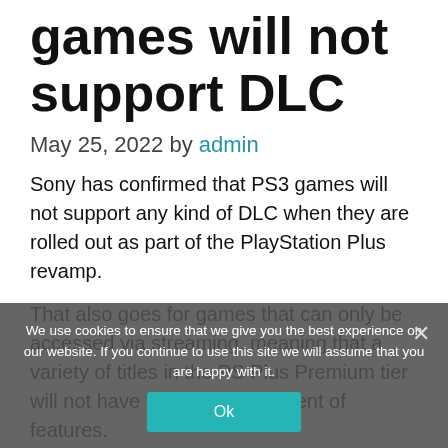games will not support DLC
May 25, 2022 by admin
Sony has confirmed that PS3 games will not support any kind of DLC when they are rolled out as part of the PlayStation Plus revamp.
That also goes for games that can only be accessed via streaming, meaning that a variety of titles in the PS Plus Premium tier will not have their full compliment of features.
PS4 titles can also be streamed but there is
We use cookies to ensure that we give you the best experience on our website. If you continue to use this site we will assume that you are happy with it.